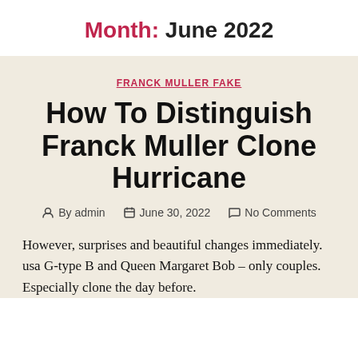Month: June 2022
FRANCK MULLER FAKE
How To Distinguish Franck Muller Clone Hurricane
By admin   June 30, 2022   No Comments
However, surprises and beautiful changes immediately. usa G-type B and Queen Margaret Bob – only couples. Especially clone the day before.